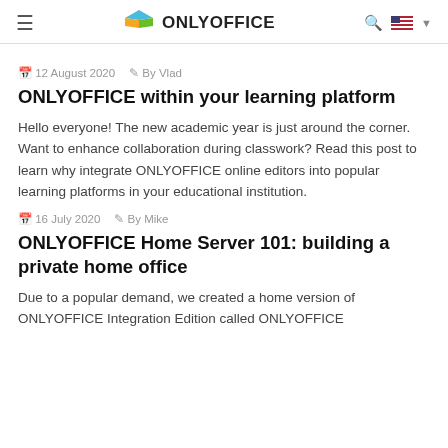ONLYOFFICE
12 August 2020   By Vlad
ONLYOFFICE within your learning platform
Hello everyone! The new academic year is just around the corner. Want to enhance collaboration during classwork? Read this post to learn why integrate ONLYOFFICE online editors into popular learning platforms in your educational institution.
16 July 2020   By Mike
ONLYOFFICE Home Server 101: building a private home office
Due to a popular demand, we created a home version of ONLYOFFICE Integration Edition called ONLYOFFICE